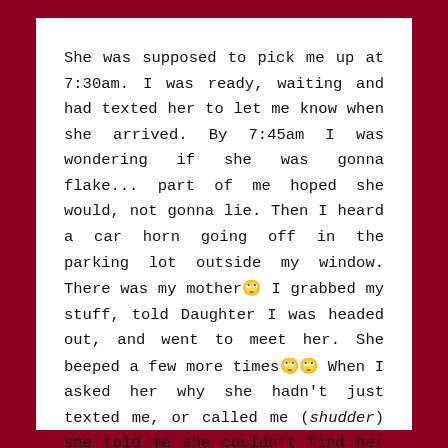She was supposed to pick me up at 7:30am. I was ready, waiting and had texted her to let me know when she arrived. By 7:45am I was wondering if she was gonna flake... part of me hoped she would, not gonna lie. Then I heard a car horn going off in the parking lot outside my window. There was my mother🙄 I grabbed my stuff, told Daughter I was headed out, and went to meet her. She beeped a few more times🙄🙄 When I asked her why she hadn't just texted me, or called me (shudder) she told me she couldn't find her phone.
She is losing her memory. She is aware of this and says she has Advanced Directive and Power Of Attorney paperwork, she just hasn't completed it. I may have to sit down with her and make her